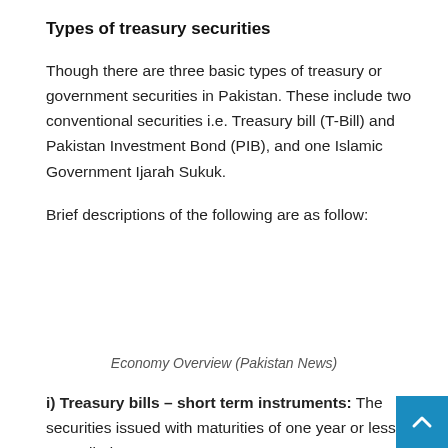Types of treasury securities
Though there are three basic types of treasury or government securities in Pakistan. These include two conventional securities i.e. Treasury bill (T-Bill) and Pakistan Investment Bond (PIB), and one Islamic Government Ijarah Sukuk.
Brief descriptions of the following are as follow:
Economy Overview (Pakistan News)
i) Treasury bills – short term instruments: The securities issued with maturities of one year or less are called Treas